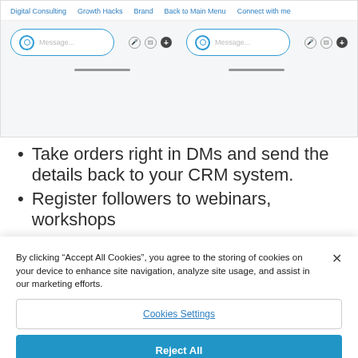[Figure (screenshot): Website screenshot showing navigation bar with links: Digital Consulting, Growth Hacks, Brand, Back to Main Menu, Connect with me. Below are two message input fields with icons.]
Take orders right in DMs and send the details back to your CRM system.
Register followers to webinars, workshops
By clicking “Accept All Cookies”, you agree to the storing of cookies on your device to enhance site navigation, analyze site usage, and assist in our marketing efforts.
Cookies Settings
Reject All
Accept All Cookies